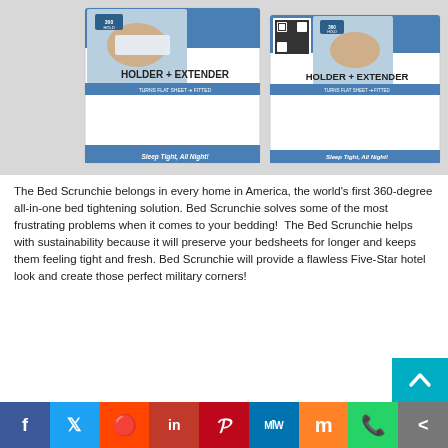[Figure (photo): Product photo showing two Bed Scrunchie 'Holder + Extender' boxes displayed at angles against a light background. The packaging features blue and white design with product images on front showing bedding use.]
The Bed Scrunchie belongs in every home in America, the world's first 360-degree all-in-one bed tightening solution. Bed Scrunchie solves some of the most frustrating problems when it comes to your bedding!  The Bed Scrunchie helps with sustainability because it will preserve your bedsheets for longer and keeps them feeling tight and fresh. Bed Scrunchie will provide a flawless Five-Star hotel look and create those perfect military corners!
[Figure (infographic): Social media share bar with icons for Facebook, Twitter, Reddit, LinkedIn, Pinterest, MeWe, Mix, WhatsApp, and a share button.]